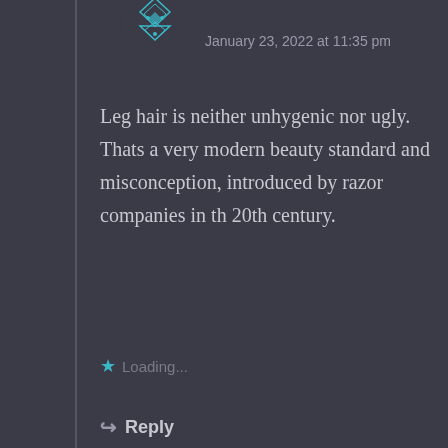[Figure (illustration): Circular avatar icon with teal geometric diamond pattern on dark background]
January 23, 2022 at 11:35 pm
Leg hair is neither unhygenic nor ugly. Thats a very modern beauty standard and misconception, introduced by razor companies in th 20th century.
Loading...
Reply
[Figure (illustration): Circular avatar with red, orange, black, and white quadrants with a small leaf/badge symbol]
jhg195
January 13, 2022 at 2:11 am
The Dothraki swords were also portrayed weirdly